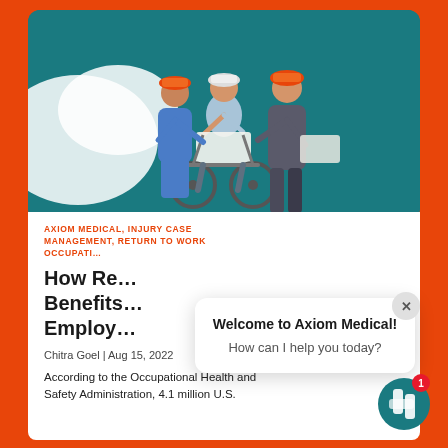[Figure (photo): Three construction workers, two standing wearing orange hard hats and one seated in a wheelchair wearing a white hard hat, looking at a document together. Background is teal/dark cyan with white blob shape on left.]
AXIOM MEDICAL, INJURY CASE MANAGEMENT, RETURN TO WORK OCCUPATI…
How Re… Benefits… Employ…
Chitra Goel | Aug 15, 2022
According to the Occupational Health and Safety Administration, 4.1 million U.S.
Welcome to Axiom Medical!
How can I help you today?